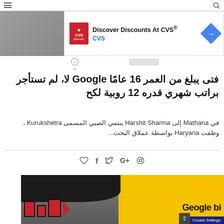≡  [search icon]
[Figure (screenshot): CVS Pharmacy advertisement banner: 'Discover Discounts At CVS® CVS' with blue arrow icon]
فتى يبلغ من العمر 16 عامًا Google لا، لم تستأجر براتب شهري قدره 12 روبية لكح
في Mathana إلى Harshit Sharma ينتمي الصبي المسمى Kurukshetra ، وظفت Haryana بواسطة عملاق البحث...
[Figure (photo): Photo of a young person with dark hair against a yellow background showing partially visible Google logo text]